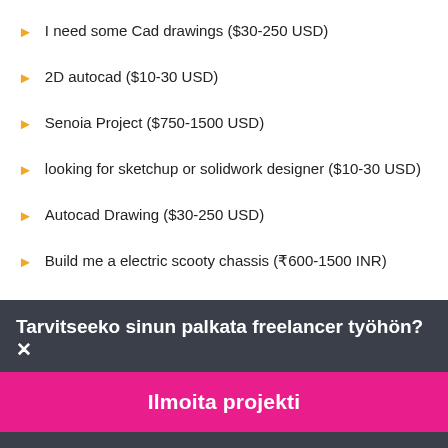I need some Cad drawings ($30-250 USD)
2D autocad ($10-30 USD)
Senoia Project ($750-1500 USD)
looking for sketchup or solidwork designer ($10-30 USD)
Autocad Drawing ($30-250 USD)
Build me a electric scooty chassis (₹600-1500 INR)
Community Centre (Brisbane, Australia $1500-3000 AUD)
3d Architectural Render ($250-750 CAD)
CAD Product Designer ($30-250 USD)
Tarvitseeko sinun palkata freelancer työhön?
Ilmoita projekti